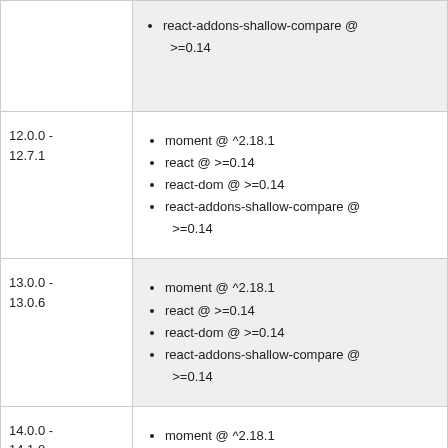| Version | Dependencies |
| --- | --- |
| (continued) | react-addons-shallow-compare @ >=0.14 |
| 12.0.0 - 12.7.1 | moment @ ^2.18.1
react @ >=0.14
react-dom @ >=0.14
react-addons-shallow-compare @ >=0.14 |
| 13.0.0 - 13.0.6 | moment @ ^2.18.1
react @ >=0.14
react-dom @ >=0.14
react-addons-shallow-compare @ >=0.14 |
| 14.0.0 - 14.1.0 | moment @ ^2.18.1
react @ >=0.14
react-dom @ >=0.14
react-addons-shallow-compare @ >=0.14 |